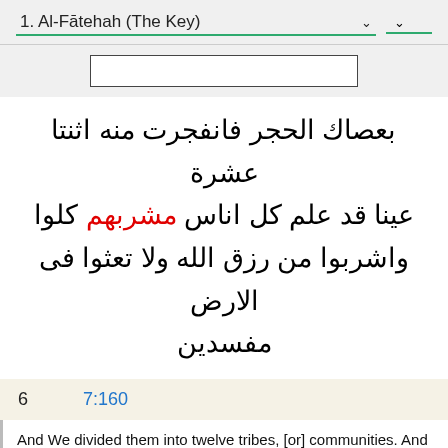1. Al-Fātehah (The Key)
[Figure (screenshot): Search input box]
بعصاك الحجر فانفجرت منه اثنتا عشرة عينا قد علم كل اناس مشربهم كلوا واشربوا من رزق الله ولا تعثوا فى الارض مفسدين
6    7:160
And We divided them into twelve tribes, [or] communities. And when his people asked Moses for water, We inspired him, "Strike the rock with thy staff!" - whereupon twelve springs gushed forth from it, so that all the people knew whence to drink., And We caused